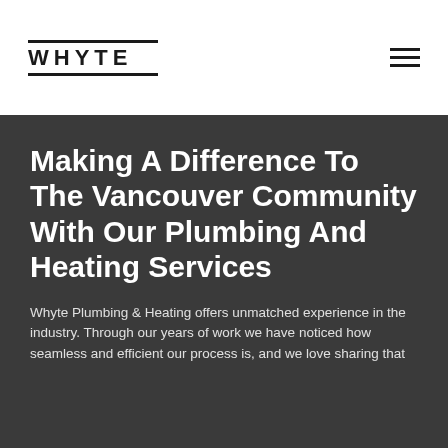WHYTE
Making A Difference To The Vancouver Community With Our Plumbing And Heating Services
Whyte Plumbing & Heating offers unmatched experience in the industry. Through our years of work we have noticed how seamless and efficient our process is, and we love sharing that